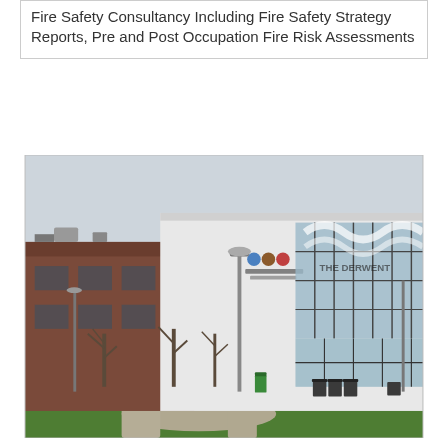Fire Safety Consultancy Including Fire Safety Strategy Reports, Pre and Post Occupation Fire Risk Assessments
[Figure (photo): Exterior photograph of Noel-Baker Academy, A L.E.A.D. Academy school building. A modern light-coloured building with large glass windows and signage on the facade. Three coloured circles (blue, brown, red) logo visible. A street lamp and bare trees are in the foreground with green lawns and a pathway.]